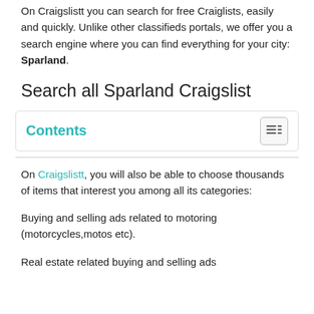On Craigslistt you can search for free Craiglists, easily and quickly. Unlike other classifieds portals, we offer you a search engine where you can find everything for your city: Sparland.
Search all Sparland Craigslist
Contents
On Craigslistt, you will also be able to choose thousands of items that interest you among all its categories:
Buying and selling ads related to motoring (motorcycles,motos etc).
Real estate related buying and selling ads